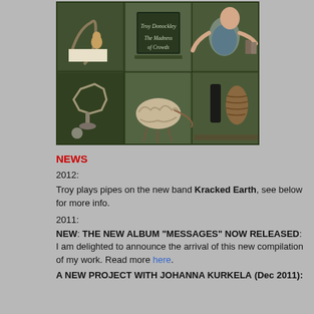[Figure (photo): Album artwork for Troy Donockley 'The Madness of Crowds' — a display cabinet with multiple compartments containing various objects including a chalkboard with the album title, figurines, a pine cone, a brain-like object, and other curiosities, all in a green-painted wooden cabinet.]
NEWS
2012:
Troy plays pipes on the new band Kracked Earth, see below for more info.
2011:
NEW: THE NEW ALBUM "MESSAGES" NOW RELEASED: I am delighted to announce the arrival of this new compilation of my work. Read more here.
A NEW PROJECT WITH JOHANNA KURKELA (Dec 2011):